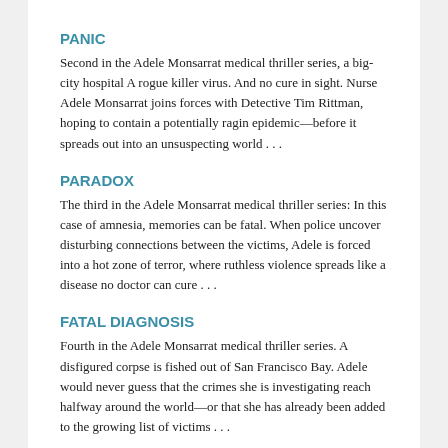PANIC
Second in the Adele Monsarrat medical thriller series, a big-city hospital A rogue killer virus. And no cure in sight. Nurse Adele Monsarrat joins forces with Detective Tim Rittman, hoping to contain a potentially ragin epidemic—before it spreads out into an unsuspecting world . . .
PARADOX
The third in the Adele Monsarrat medical thriller series: In this case of amnesia, memories can be fatal. When police uncover disturbing connections between the victims, Adele is forced into a hot zone of terror, where ruthless violence spreads like a disease no doctor can cure . . .
FATAL DIAGNOSIS
Fourth in the Adele Monsarrat medical thriller series. A disfigured corpse is fished out of San Francisco Bay. Adele would never guess that the crimes she is investigating reach halfway around the world—or that she has already been added to the growing list of victims . . .